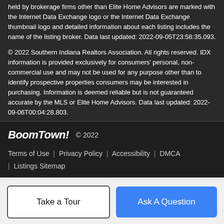held by brokerage firms other than Elite Home Advisors are marked with the Internet Data Exchange logo or the Internet Data Exchange thumbnail logo and detailed information about each listing includes the name of the listing broker. Data last updated: 2022-09-05T23:58:35.093.
© 2022 Southern Indiana Realtors Association. All rights reserved. IDX information is provided exclusively for consumers' personal, non-commercial use and may not be used for any purpose other than to identify prospective properties consumers may be interested in purchasing. Information is deemed reliable but is not guaranteed accurate by the MLS or Elite Home Advisors. Data last updated: 2022-09-06T00:04:28.803.
BoomTown! © 2022 | Terms of Use | Privacy Policy | Accessibility | DMCA | Listings Sitemap
Take a Tour
Ask A Question